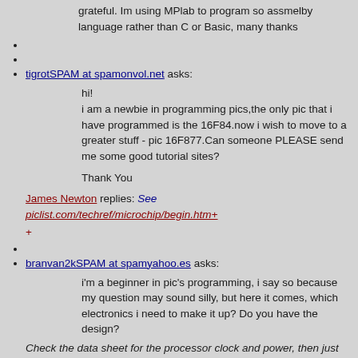grateful. Im using MPlab to program so assmelby language rather than C or Basic, many thanks
tigrotSPAM at spamonvol.net asks:
hi!
i am a newbie in programming pics,the only pic that i have programmed is the 16F84.now i wish to move to a greater stuff - pic 16F877.Can someone PLEASE send me some good tutorial sites?

Thank You
James Newton replies: See piclist.com/techref/microchip/begin.htm+
+
branvan2kSPAM at spamyahoo.es asks:
i'm a beginner in pic's programming, i say so because my question may sound silly, but here it comes, which electronics i need to make it up? Do you have the design?
Check the data sheet for the processor clock and power, then just